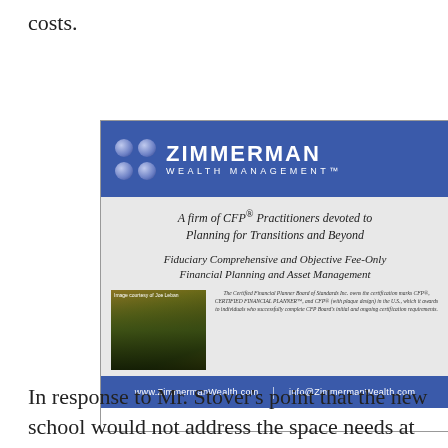costs.
[Figure (advertisement): Zimmerman Wealth Management advertisement. Blue header with grid of four blue spheres and 'ZIMMERMAN WEALTH MANAGEMENT™' in white. White/grey body with italic taglines: 'A firm of CFP® Practitioners devoted to Planning for Transitions and Beyond' and 'Fiduciary Comprehensive and Objective Fee-Only Financial Planning and Asset Management'. Photo of a tree-lined path and CFP Board disclaimer text. Blue footer with 'www.ZimmermanWealth.com | info@ZimmermanWealth.com'.]
In response to Mr. Stover's point that the new school would not address the space needs at